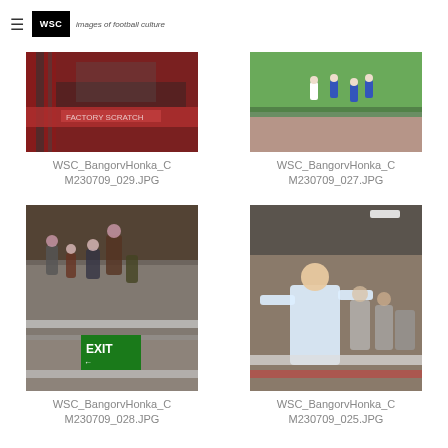≡  WSC  images of football culture
[Figure (photo): Football stadium interior, red seating, crowd area visible through bars]
WSC_BangorvHonka_CM230709_029.JPG
[Figure (photo): Football match on pitch, players in white and blue kits, stadium seating in background]
WSC_BangorvHonka_CM230709_027.JPG
[Figure (photo): Football stadium terrace, fans gathered near exit sign with green exit arrow]
WSC_BangorvHonka_CM230709_028.JPG
[Figure (photo): Football fans in stand celebrating, young man in white t-shirt prominent in foreground]
WSC_BangorvHonka_CM230709_025.JPG